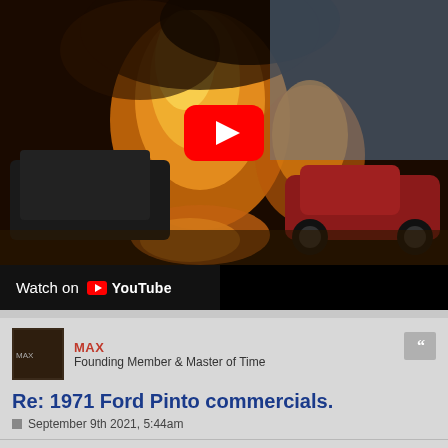[Figure (screenshot): YouTube video thumbnail showing a car explosion scene with a red sports car and fire, featuring the YouTube play button overlay and 'Watch on YouTube' bar at the bottom]
MAX
Founding Member & Master of Time
Re: 1971 Ford Pinto commercials.
September 9th 2021, 5:44am
I rented a Pinto at some obscure airport and made it as far as the first set of railroad tracks as I was leaving the airport before turning around and exchanging it for a real car.